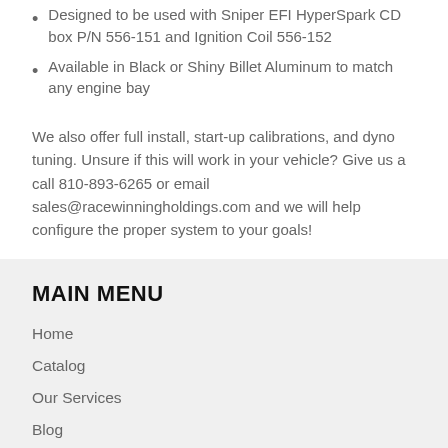Designed to be used with Sniper EFI HyperSpark CD box P/N 556-151 and Ignition Coil 556-152
Available in Black or Shiny Billet Aluminum to match any engine bay
We also offer full install, start-up calibrations, and dyno tuning. Unsure if this will work in your vehicle? Give us a call 810-893-6265 or email sales@racewinningholdings.com and we will help configure the proper system to your goals!
MAIN MENU
Home
Catalog
Our Services
Blog